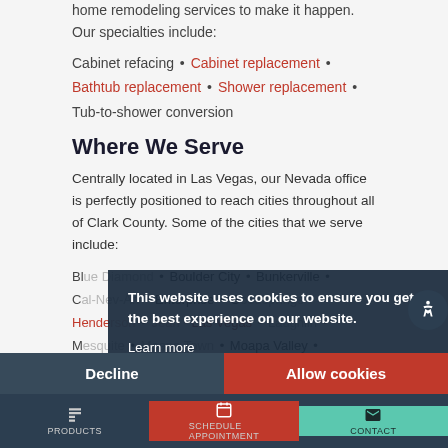home remodeling services to make it happen. Our specialties include:
Cabinet refacing • Cabinet replacement • Bathtub replacement • Shower replacement • Tub-to-shower conversion
Where We Serve
Centrally located in Las Vegas, our Nevada office is perfectly positioned to reach cities throughout all of Clark County. Some of the cities that we serve include:
Blue Diamond • Boulder City • Bunkerville • Cal-Nev-Ari • Enterprise • Goodsprings • Henderson • Jean • Las Vegas • Laughlin • Mesquite • Moapa Town • Moapa Valley • Mount Charleston • Nelson • North Las Vegas • Paradise • Sandy Valley • Searchlight •
This website uses cookies to ensure you get the best experience on our website.
Learn more
Decline
Allow cookies